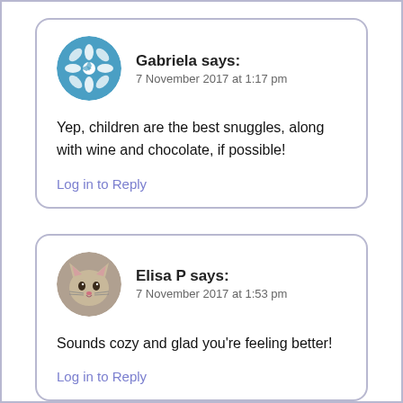Gabriela says: 7 November 2017 at 1:17 pm
Yep, children are the best snuggles, along with wine and chocolate, if possible!
Log in to Reply
Elisa P says: 7 November 2017 at 1:53 pm
Sounds cozy and glad you're feeling better!
Log in to Reply